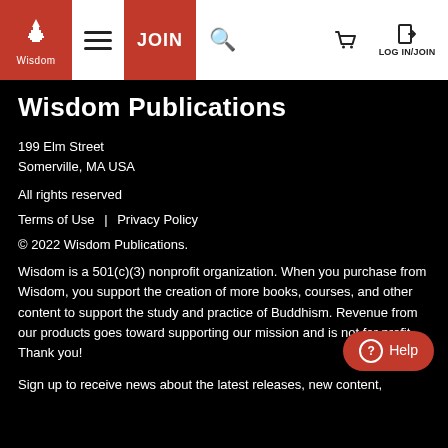Wisdom Publications — JOIN | LOG IN/JOIN
Wisdom Publications
199 Elm Street
Somerville, MA USA
All rights reserved
Terms of Use | Privacy Policy
© 2022 Wisdom Publications.
Wisdom is a 501(c)(3) nonprofit organization. When you purchase from Wisdom, you support the creation of more books, courses, and other content to support the study and practice of Buddhism. Revenue from our products goes toward supporting our mission and is not for profit. Thank you!
Sign up to receive news about the latest releases, new content,